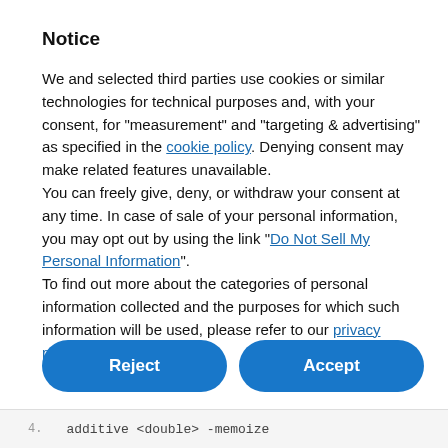Notice
We and selected third parties use cookies or similar technologies for technical purposes and, with your consent, for “measurement” and “targeting & advertising” as specified in the cookie policy. Denying consent may make related features unavailable.
You can freely give, deny, or withdraw your consent at any time. In case of sale of your personal information, you may opt out by using the link “Do Not Sell My Personal Information”.
To find out more about the categories of personal information collected and the purposes for which such information will be used, please refer to our privacy policy.
Reject
Accept
Learn more and customize
4.    additive <double> -memoize